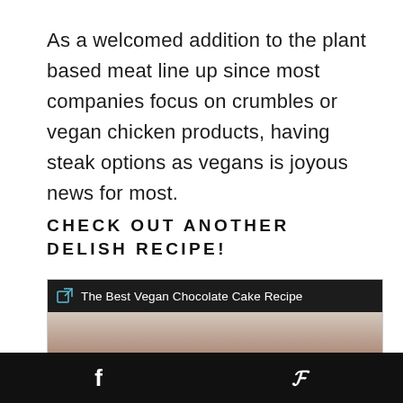As a welcomed addition to the plant based meat line up since most companies focus on crumbles or vegan chicken products, having steak options as vegans is joyous news for most.
CHECK OUT ANOTHER DELISH RECIPE!
[Figure (other): A linked card with dark header bar showing a small external link icon and the text 'The Best Vegan Chocolate Cake Recipe', with a photo of a chocolate cake partially visible below.]
f   P